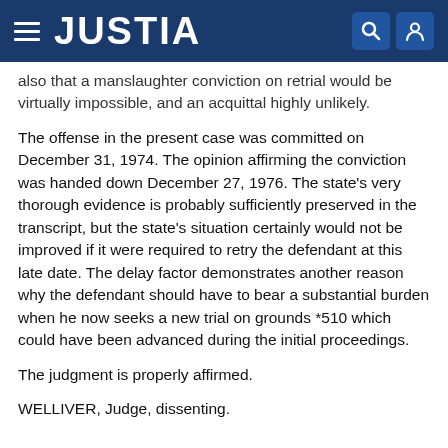JUSTIA
also that a manslaughter conviction on retrial would be virtually impossible, and an acquittal highly unlikely.
The offense in the present case was committed on December 31, 1974. The opinion affirming the conviction was handed down December 27, 1976. The state's very thorough evidence is probably sufficiently preserved in the transcript, but the state's situation certainly would not be improved if it were required to retry the defendant at this late date. The delay factor demonstrates another reason why the defendant should have to bear a substantial burden when he now seeks a new trial on grounds *510 which could have been advanced during the initial proceedings.
The judgment is properly affirmed.
WELLIVER, Judge, dissenting.